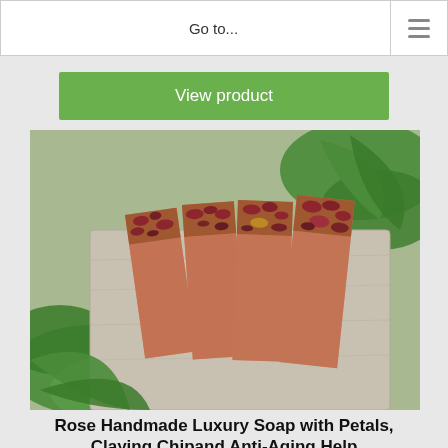Go to...
View product
[Figure (photo): Four rectangular bars of rose handmade luxury soap with rose petals on top, arranged on a weathered wooden surface surrounded by green leaves.]
Rose Handmade Luxury Soap with Petals, Claying Chipand Anti-Aging Help